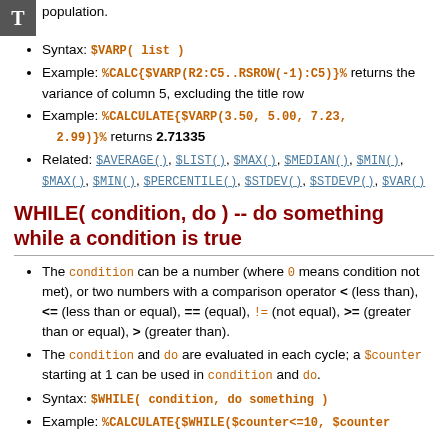population.
Syntax: $VARP( list )
Example: %CALC{$VARP(R2:C5..RSROW(-1):C5)}% returns the variance of column 5, excluding the title row
Example: %CALCULATE{$VARP(3.50, 5.00, 7.23, 2.99)}% returns 2.71335
Related: $AVERAGE(), $LIST(), $MAX(), $MEDIAN(), $MIN(), $MAX(), $MIN(), $PERCENTILE(), $STDEV(), $STDEVP(), $VAR()
WHILE( condition, do ) -- do something while a condition is true
The condition can be a number (where 0 means condition not met), or two numbers with a comparison operator < (less than), <= (less than or equal), == (equal), != (not equal), >= (greater than or equal), > (greater than).
The condition and do are evaluated in each cycle; a $counter starting at 1 can be used in condition and do.
Syntax: $WHILE( condition, do something )
Example: %CALCULATE{$WHILE($counter<=10, $counter